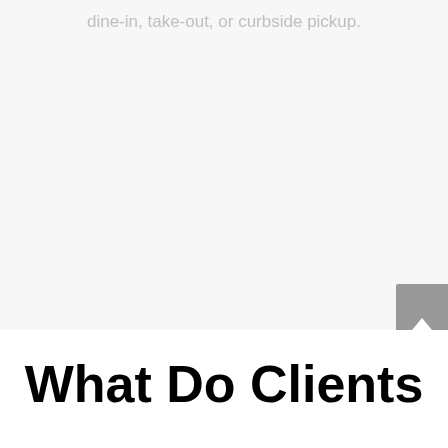dine-in, take-out, or curbside pickup.
What Do Clients